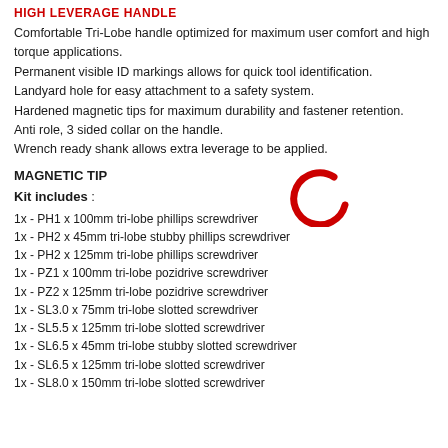HIGH LEVERAGE HANDLE
Comfortable Tri-Lobe handle optimized for maximum user comfort and high torque applications.
Permanent visible ID markings allows for quick tool identification.
Landyard hole for easy attachment to a safety system.
Hardened magnetic tips for maximum durability and fastener retention.
Anti role, 3 sided collar on the handle.
Wrench ready shank allows extra leverage to be applied.
MAGNETIC TIP
Kit includes :
[Figure (illustration): Red crescent/spinner loading icon graphic]
1x - PH1 x 100mm tri-lobe phillips screwdriver
1x - PH2 x 45mm tri-lobe stubby phillips screwdriver
1x - PH2 x 125mm tri-lobe phillips screwdriver
1x - PZ1 x 100mm tri-lobe pozidrive screwdriver
1x - PZ2 x 125mm tri-lobe pozidrive screwdriver
1x - SL3.0 x 75mm tri-lobe slotted screwdriver
1x - SL5.5 x 125mm tri-lobe slotted screwdriver
1x - SL6.5 x 45mm tri-lobe stubby slotted screwdriver
1x - SL6.5 x 125mm tri-lobe slotted screwdriver
1x - SL8.0 x 150mm tri-lobe slotted screwdriver